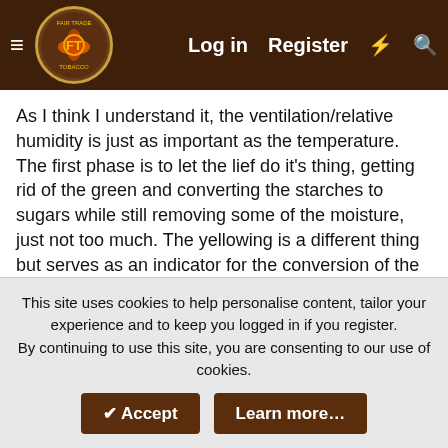Fair Trade Tobacco — Log in | Register
As I think I understand it, the ventilation/relative humidity is just as important as the temperature. The first phase is to let the lief do it's thing, getting rid of the green and converting the starches to sugars while still removing some of the moisture, just not too much. The yellowing is a different thing but serves as an indicator for the conversion of the starches to sugars. The second phase is to remove enough moisture before 130 F so the lief doesn't scald/cook as the temperature goes higher, to 165 F. The third phase at 165 F and very low RH finishes drying/killing the stem and stops whatever else that was going on.
LeftyRighty
Moderator · Founding Member
This site uses cookies to help personalise content, tailor your experience and to keep you logged in if you register.
By continuing to use this site, you are consenting to our use of cookies.